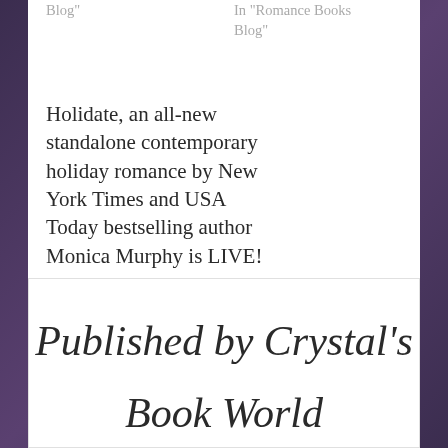Blog"
In "Romance Books Blog"
Holidate, an all-new standalone contemporary holiday romance by New York Times and USA Today bestselling author Monica Murphy is LIVE!
October 15, 2019
In "Romance Books Blog"
Published by Crystal's
Book World